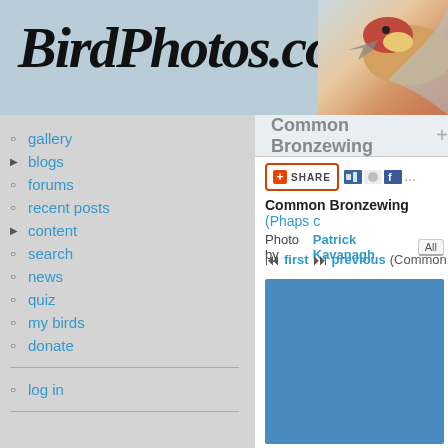BirdPhotos.com
gallery
blogs
forums
recent posts
content
search
news
quiz
my birds
donate
log in
Common Bronzewing  +
Common Bronzewing (Phaps c... Photo by Patrick Kavanagh  All
first  previous  (Common ...
[Figure (photo): Blue placeholder area for bird photo]